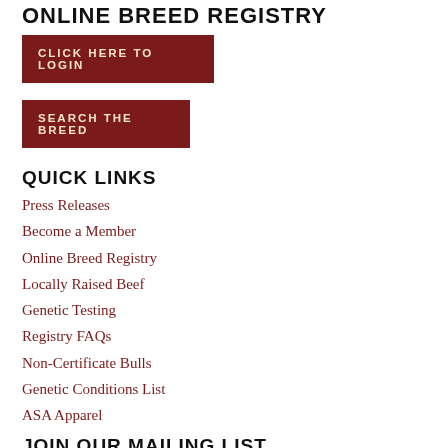ONLINE BREED REGISTRY
CLICK HERE TO LOGIN
SEARCH THE BREED
QUICK LINKS
Press Releases
Become a Member
Online Breed Registry
Locally Raised Beef
Genetic Testing
Registry FAQs
Non-Certificate Bulls
Genetic Conditions List
ASA Apparel
JOIN OUR MAILING LIST
SIGN UP NOW!